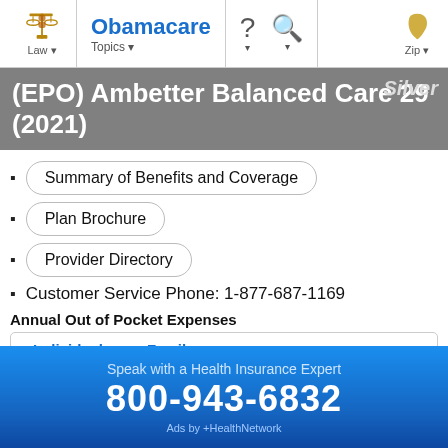Obamacare Topics | Law | Zip
(EPO) Ambetter Balanced Care 29 (2021)
Summary of Benefits and Coverage
Plan Brochure
Provider Directory
Customer Service Phone: 1-877-687-1169
Annual Out of Pocket Expenses
| Individual | Family |
| --- | --- |
Speak with a Health Insurance Expert
800-943-6832
Ads by +HealthNetwork